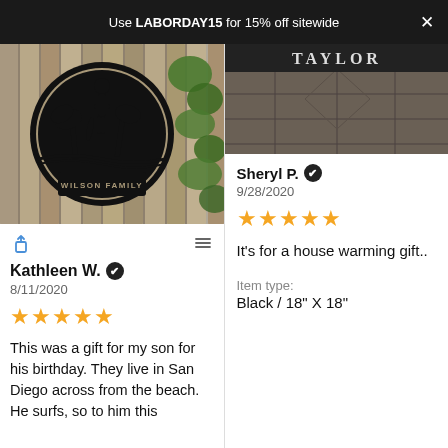Use LABORDAY15 for 15% off sitewide
[Figure (photo): Photo of a black metal sign on a wooden fence. The sign shows a circular design with a surfer and palm trees silhouette with the text WILSON FAMILY. Green ivy visible on the right side.]
Kathleen W. ✔
8/11/2020
★★★★★
This was a gift for my son for his birthday. They live in San Diego across from the beach. He surfs, so to him this
[Figure (photo): Photo showing a dark brown tile floor with a personalized item labeled TAYLOR in white text on a dark background at the top.]
Sheryl P. ✔
9/28/2020
★★★★★
It's for a house warming gift..
Item type:
Black / 18" X 18"